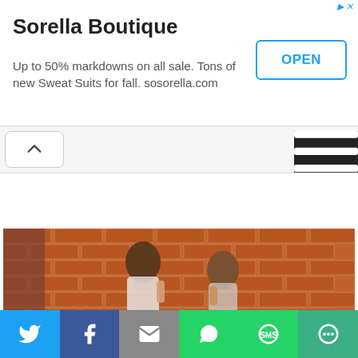Sorella Boutique
Up to 50% markdowns on all sale. Tons of new Sweat Suits for fall. sosorella.com
[Figure (screenshot): Mobile app screenshot showing navigation bar with up arrow button and hamburger menu (black background with three white lines)]
[Figure (photo): Two girls with hair accessories whispering in front of a brick wall]
[Figure (infographic): Social sharing bar at bottom with Twitter, Facebook, Email, WhatsApp, SMS, and more icons]